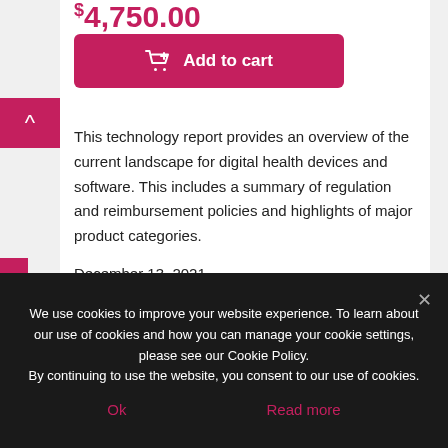$4,750.00
This technology report provides an overview of the current landscape for digital health devices and software. This includes a summary of regulation and reimbursement policies and highlights of major product categories.
December 13, 2021
We use cookies to improve your website experience. To learn about our use of cookies and how you can manage your cookie settings, please see our Cookie Policy.
By continuing to use the website, you consent to our use of cookies.
Ok
Read more